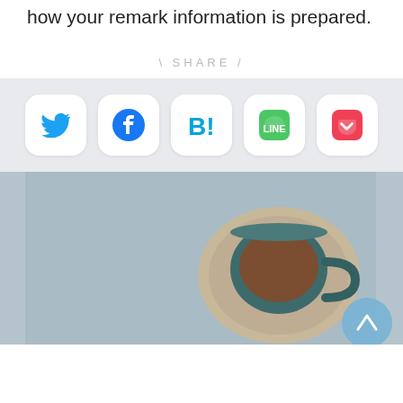how your remark information is prepared.
SHARE
[Figure (infographic): Share buttons row with Twitter, Facebook, Hatena Bookmark, LINE, and Pocket icons on a light grey background]
[Figure (photo): Overhead photo of a coffee cup on a saucer on a grey-blue table surface, with a scroll-to-top button in the bottom right corner]